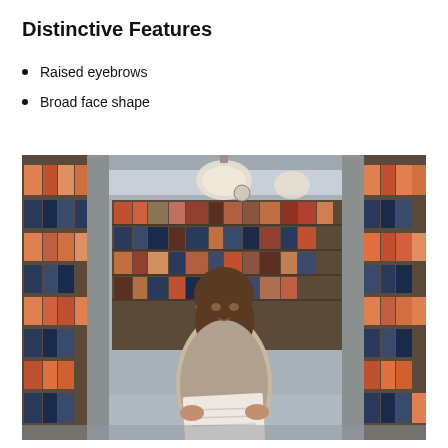Distinctive Features
Raised eyebrows
Broad face shape
[Figure (photo): A woman with shoulder-length dark hair stands between metal door frames in a library, holding a document. Behind her are bookshelves filled with orange, red, and dark colored books. Overhead pendant lights are visible. The library has a warm, institutional atmosphere.]